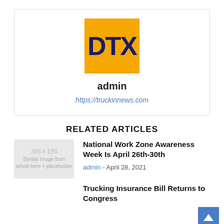[Figure (logo): DTX logo: orange square background with dark navy bold text DTX]
admin
https://truckinnews.com
RELATED ARTICLES
[Figure (other): Placeholder image thumbnail 365x195 with gray background]
National Work Zone Awareness Week Is April 26th-30th
admin - April 28, 2021
Trucking Insurance Bill Returns to Congress